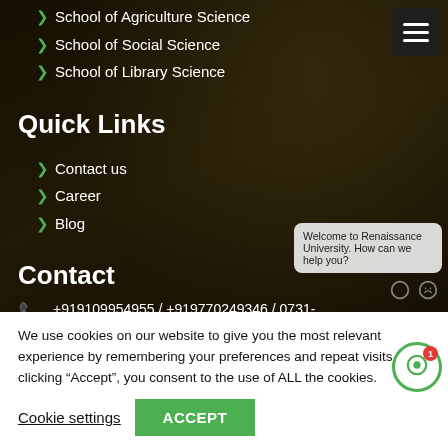School of Agriculture Science
School of Social Science
School of Library Science
Quick Links
Contact us
Career
Blog
Contact
+919109954955 / +919770249346 / 0731-6684150 / 0731-6684151
We use cookies on our website to give you the most relevant experience by remembering your preferences and repeat visits. By clicking “Accept”, you consent to the use of ALL the cookies.